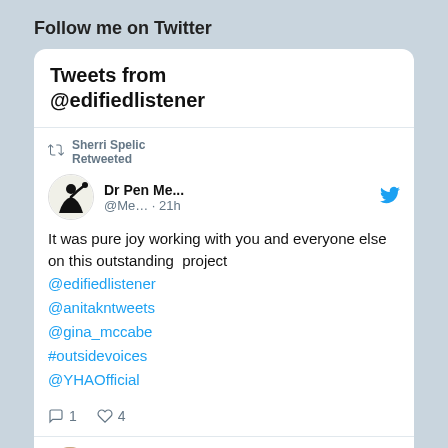Follow me on Twitter
Tweets from @edifiedlistener
Sherri Spelic Retweeted
Dr Pen Me... @Me... · 21h
It was pure joy working with you and everyone else on this outstanding  project @edifiedlistener @anitakntweets @gina_mccabe #outsidevoices @YHAOfficial
1  4
Sherri Sp...